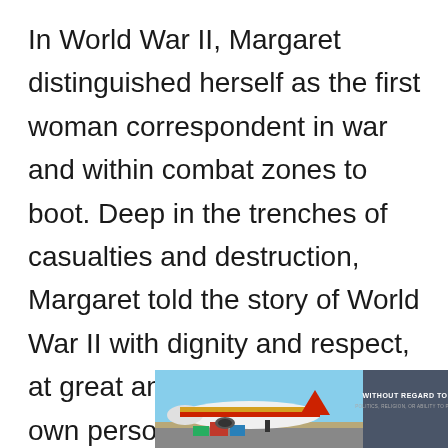In World War II, Margaret distinguished herself as the first woman correspondent in war and within combat zones to boot. Deep in the trenches of casualties and destruction, Margaret told the story of World War II with dignity and respect, at great and terrible peril to her own person.
[Figure (photo): Advertisement banner showing an airplane being loaded with cargo, with colorful livery in red, yellow and blue. A dark gray box on the right reads 'WITHOUT REGARD TO POLITICS, RELIGION, OR ABILITY TO PAY' in white text.]